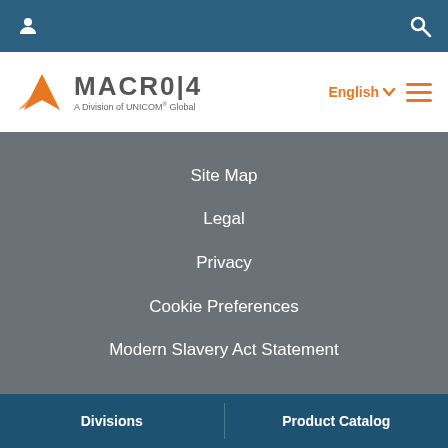MACRO4 - A Division of UNICOM Global
[Figure (logo): MACRO4 logo with orange arrow mark and text 'A Division of UNICOM Global']
Site Map
Legal
Privacy
Cookie Preferences
Modern Slavery Act Statement
Divisions  |  Product Catalog